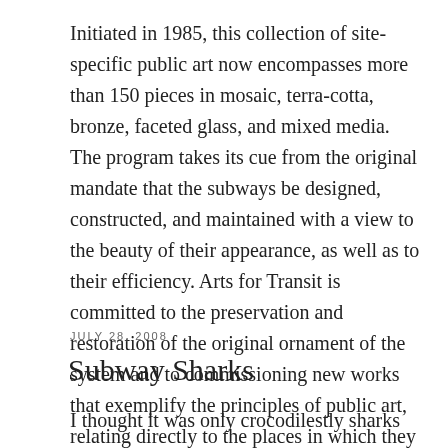Initiated in 1985, this collection of site-specific public art now encompasses more than 150 pieces in mosaic, terra-cotta, bronze, faceted glass, and mixed media. The program takes its cue from the original mandate that the subways be designed, constructed, and maintained with a view to the beauty of their appearance, as well as to their efficiency. Arts for Transit is committed to the preservation and restoration of the original ornament of the system and to commissioning new works that exemplify the principles of public art, relating directly to the places in which they are installed and the community around them.
JULY 28, 2008
Subway Sharks
I thought it was only crocodiles tly sharks